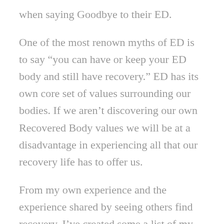when saying Goodbye to their ED.
One of the most renown myths of ED is to say “you can have or keep your ED body and still have recovery.” ED has its own core set of values surrounding our bodies. If we aren’t discovering our own Recovered Body values we will be at a disadvantage in experiencing all that our recovery life has to offer us.
From my own experience and the experience shared by seeing others find recovery, I’ve created some a list of my favorite Nourished-Body Values.
1. We don’t have to love our Body to Respect our Body. Respect is about honoring about